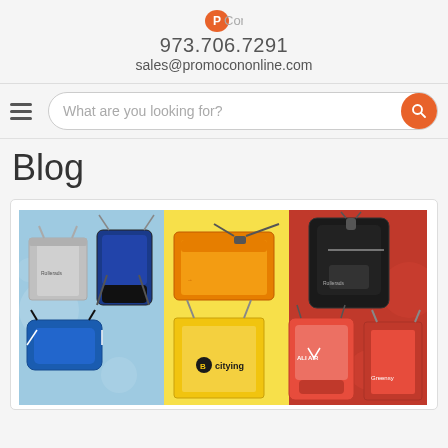973.706.7291
sales@promocononline.com
What are you looking for?
Blog
[Figure (photo): Promotional bags product photo showing various branded bags: silver tote bag, blue drawstring backpack, orange messenger bag, black backpack, blue duffel bag, yellow tote bag with 'citying' logo, red drawstring bag with 'ALI AIR' logo, and red tote bag, arranged on blue, yellow, and red background sections.]